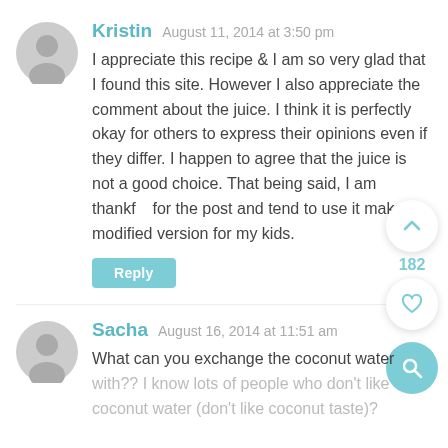Kristin  August 11, 2014 at 3:50 pm
I appreciate this recipe & I am so very glad that I found this site. However I also appreciate the comment about the juice. I think it is perfectly okay for others to express their opinions even if they differ. I happen to agree that the juice is not a good choice. That being said, I am thankful for the post and tend to use it make a modified version for my kids.
Reply
182
Sacha  August 16, 2014 at 11:51 am
What can you exchange the coconut water with?? I know lots of people who don't like coconut water (don't like coconut taste)?